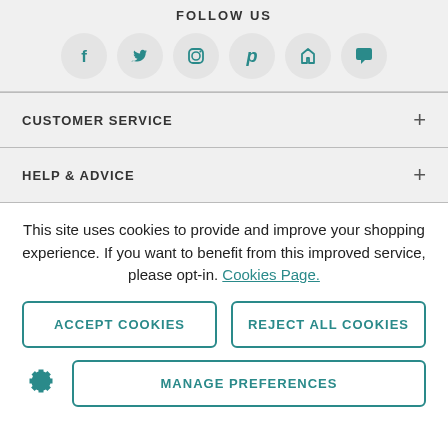FOLLOW US
[Figure (illustration): Six social media icons in circles: Facebook (f), Twitter (bird), Instagram (camera), Pinterest (P), Houzz (H), and a chat/comment bubble icon, all in teal color on light gray circle backgrounds.]
CUSTOMER SERVICE
HELP & ADVICE
This site uses cookies to provide and improve your shopping experience. If you want to benefit from this improved service, please opt-in. Cookies Page.
ACCEPT COOKIES
REJECT ALL COOKIES
MANAGE PREFERENCES